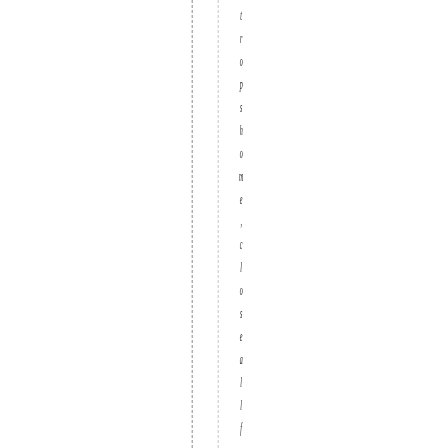tropshome ,closeall foreignbasi